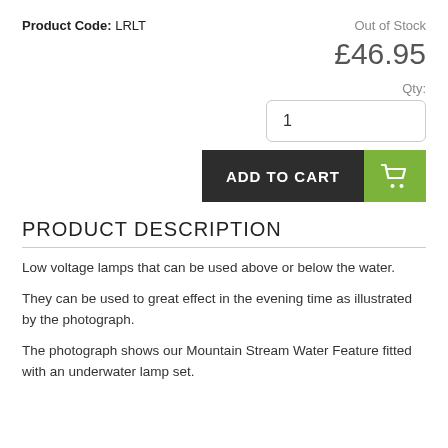Product Code: LRLT
Out of Stock
£46.95
Qty:
1
ADD TO CART
PRODUCT DESCRIPTION
Low voltage lamps that can be used above or below the water.
They can be used to great effect in the evening time as illustrated by the photograph.
The photograph shows our Mountain Stream Water Feature fitted with an underwater lamp set.